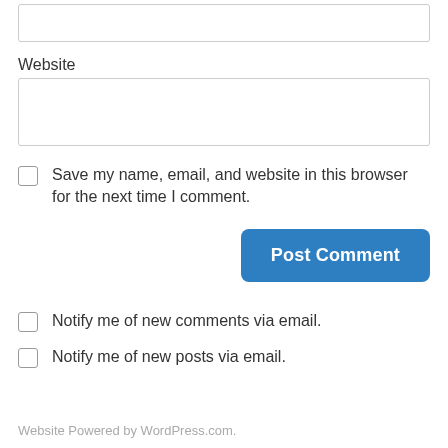Website
Save my name, email, and website in this browser for the next time I comment.
Post Comment
Notify me of new comments via email.
Notify me of new posts via email.
Website Powered by WordPress.com.